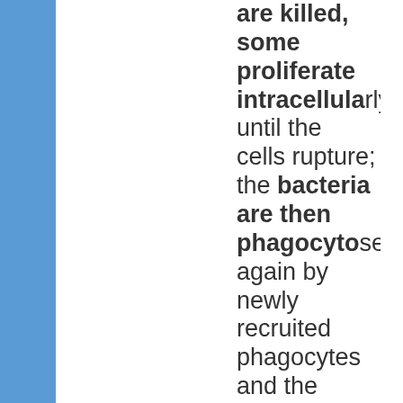are killed, some proliferate intracellularly until the cells rupture; the bacteria are then phagocytosed again by newly recruited phagocytes and the cycle begins anew. The role of neutrophils in immunity appears to be minimal: ne patients